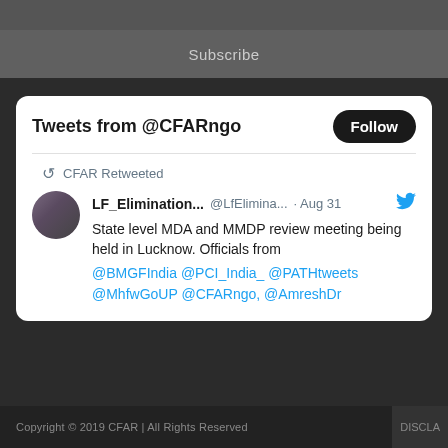Subscribe
[Figure (screenshot): Twitter widget showing tweets from @CFARngo with a Follow button. Contains a retweet by CFAR from LF_Elimination... @LfElimina... Aug 31: State level MDA and MMDP review meeting being held in Lucknow. Officials from @BMGFIndia @PCI_India_ @PATHtweets @MhfwGoUP @CFARngo, @AmreshDr]
Copyright © 2019 CFAR | All Rights Reserved   DISCLA